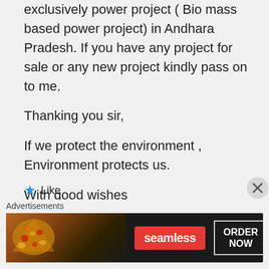exclusively power project ( Bio mass based power project) in Andhara Pradesh. If you have any project for sale or any new project kindly pass on to me.
Thanking you sir,
If we protect the environment , Environment protects us.
With good wishes
R.K.Veerabhadra Rao
09441251135
★ Like
Advertisements
[Figure (other): Seamless food delivery advertisement banner with pizza image, Seamless logo in red, and ORDER NOW button]